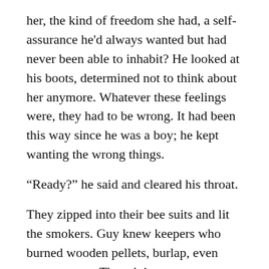her, the kind of freedom she had, a self-assurance he'd always wanted but had never been able to inhabit? He looked at his boots, determined not to think about her anymore. Whatever these feelings were, they had to be wrong. It had been this way since he was a boy; he kept wanting the wrong things.
“Ready?” he said and cleared his throat.
They zipped into their bee suits and lit the smokers. Guy knew keepers who burned wooden pellets, burlap, even cotton waste. Though it meant shouldering a satchel from hive to hive, he'd brough
* * *